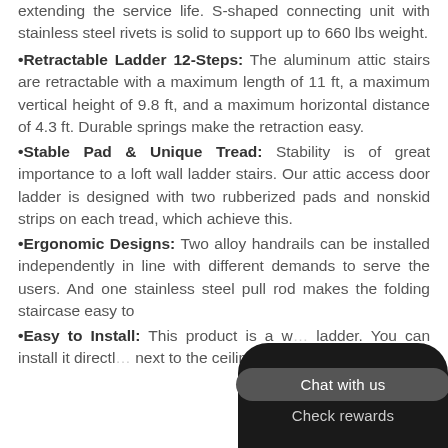improved the quality of our telescopic attic ladder, extending the service life. S-shaped connecting unit with stainless steel rivets is solid to support up to 660 lbs weight.
•Retractable Ladder 12-Steps: The aluminum attic stairs are retractable with a maximum length of 11 ft, a maximum vertical height of 9.8 ft, and a maximum horizontal distance of 4.3 ft. Durable springs make the retraction easy.
•Stable Pad & Unique Tread: Stability is of great importance to a loft wall ladder stairs. Our attic access door ladder is designed with two rubberized pads and nonskid strips on each tread, which achieve this.
•Ergonomic Designs: Two alloy handrails can be installed independently in line with different demands to serve the users. And one stainless steel pull rod makes the folding staircase easy to
•Easy to Install: This product is a w... ladder. You can install it directl... next to the ceiling opening. Fol...
[Figure (screenshot): Dark overlay chat widget with 'Chat with us' button and 'Check rewards' text at bottom right of page]